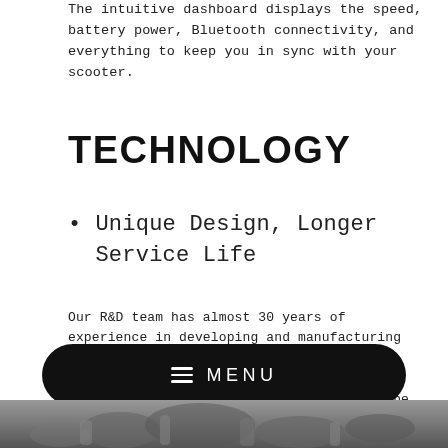The intuitive dashboard displays the speed, battery power, Bluetooth connectivity, and everything to keep you in sync with your scooter.
TECHNOLOGY
Unique Design, Longer Service Life
Our R&D team has almost 30 years of experience in developing and manufacturing components of vehicles, especially motors. After experimenting thousands of times, we successfully extend the service life of the motor to the world's leading level using materials and components of the highest quality, and the extraordinary design of shell which offers a more efficient cooling solution.
[Figure (other): Dark rounded rectangle menu bar with hamburger icon and MENU text in white on black background]
[Figure (photo): Black and white photo of mechanical/engine components at the bottom of the page]